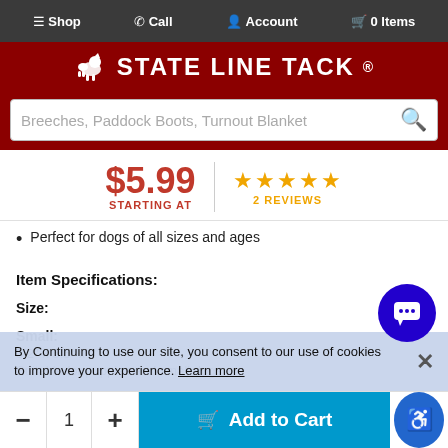☰ Shop  ✆ Call  👤 Account  🛒 0 Items
[Figure (logo): State Line Tack logo with horse icon on dark red background]
Breeches, Paddock Boots, Turnout Blanket
$5.99 STARTING AT
★★★★★ 2 REVIEWS
Perfect for dogs of all sizes and ages
Item Specifications:
Size:
Small:
3.2" x 5.5" x 2"
Suitable for puppies and small dogs
By Continuing to use our site, you consent to our use of cookies to improve your experience. Learn more
- 1 + Add to Cart